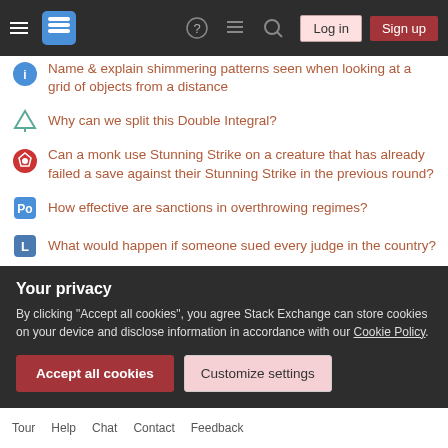Stack Exchange navigation bar with Log in and Sign up buttons
Name & explain shimmering patterns seen when looking at a grid of objects from a distance
Why can we split this Double Integral?
Can a monk use Stunning Strike on a creature that has already failed a save against their Stunning Strike in the previous round?
How effective are sanctions in overthrowing regimes?
What would happen if someone sued every judge in the country?
Why the "soap" here is singular?
Is there any procedure or rule that prevents the President from nominating any person as Secretary of State?
Strange characters appearing in some DNS checkers, but not others
Your privacy
By clicking "Accept all cookies", you agree Stack Exchange can store cookies on your device and disclose information in accordance with our Cookie Policy.
Tour  Help  Chat  Contact  Feedback